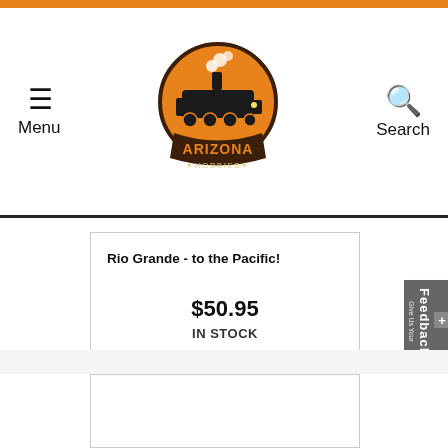Arizona Hobbies — Menu / Search navigation header
Rio Grande - to the Pacific!
$50.95
IN STOCK
ADD TO CART